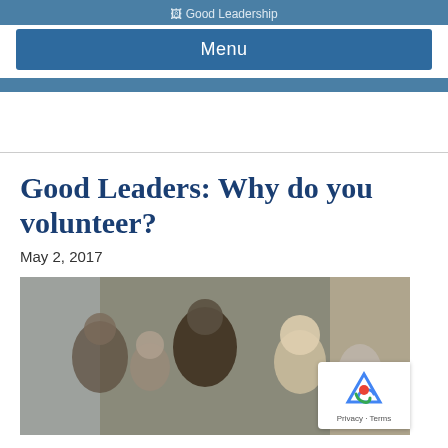Good Leadership — Menu
Good Leaders: Why do you volunteer?
May 2, 2017
[Figure (photo): Group of people, some wearing hats and winter clothing, gathered around a table indoors. Appears to be a volunteer or community event.]